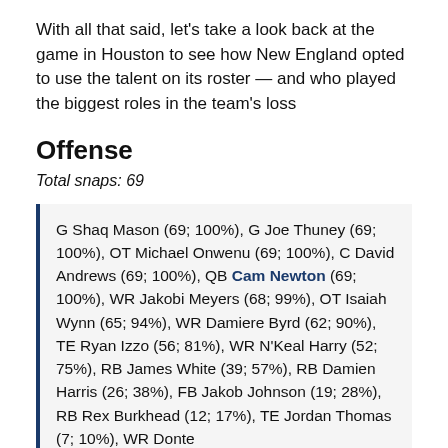With all that said, let's take a look back at the game in Houston to see how New England opted to use the talent on its roster — and who played the biggest roles in the team's loss
Offense
Total snaps: 69
G Shaq Mason (69; 100%), G Joe Thuney (69; 100%), OT Michael Onwenu (69; 100%), C David Andrews (69; 100%), QB Cam Newton (69; 100%), WR Jakobi Meyers (68; 99%), OT Isaiah Wynn (65; 94%), WR Damiere Byrd (62; 90%), TE Ryan Izzo (56; 81%), WR N'Keal Harry (52; 75%), RB James White (39; 57%), RB Damien Harris (26; 38%), FB Jakob Johnson (19; 28%), RB Rex Burkhead (12; 17%), TE Jordan Thomas (7; 10%), WR Donte